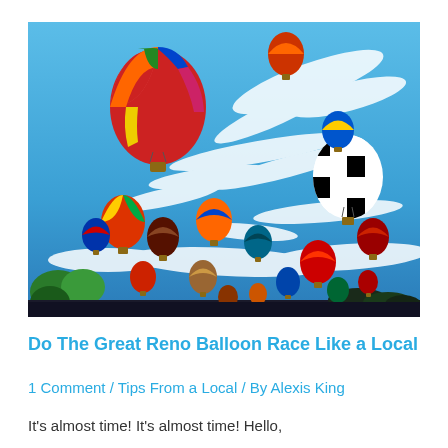[Figure (photo): Many colorful hot air balloons floating in a bright blue sky with wispy white clouds, with trees and ground visible at the bottom. One large multicolored striped balloon is prominent in the upper left area.]
Do The Great Reno Balloon Race Like a Local
1 Comment / Tips From a Local / By Alexis King
It's almost time! It's almost time! Hello,